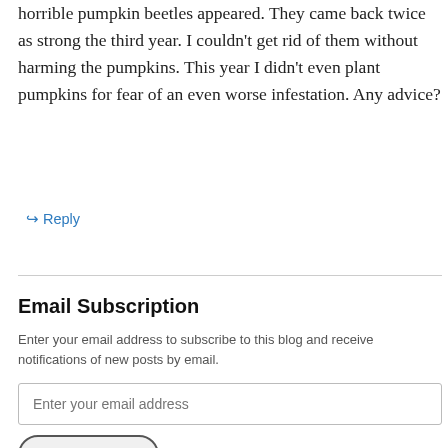horrible pumpkin beetles appeared. They came back twice as strong the third year. I couldn't get rid of them without harming the pumpkins. This year I didn't even plant pumpkins for fear of an even worse infestation. Any advice?
↳ Reply
Email Subscription
Enter your email address to subscribe to this blog and receive notifications of new posts by email.
Enter your email address
Sign me up!
Join 2,304 other followers